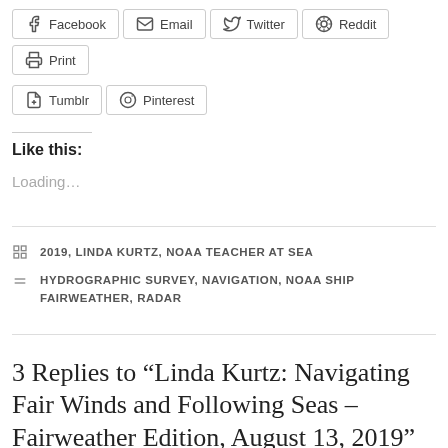[Figure (other): Social share buttons row 1: Facebook, Email, Twitter, Reddit, Print]
[Figure (other): Social share buttons row 2: Tumblr, Pinterest]
Like this:
Loading...
2019, LINDA KURTZ, NOAA TEACHER AT SEA
HYDROGRAPHIC SURVEY, NAVIGATION, NOAA SHIP FAIRWEATHER, RADAR
3 Replies to “Linda Kurtz: Navigating Fair Winds and Following Seas – Fairweather Edition, August 13, 2019”